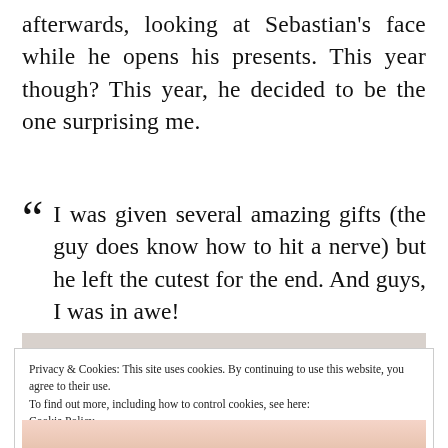afterwards, looking at Sebastian's face while he opens his presents. This year though? This year, he decided to be the one surprising me.
““ I was given several amazing gifts (the guy does know how to hit a nerve) but he left the cutest for the end. And guys, I was in awe!
[Figure (photo): A photo partially visible, showing blurred light background (top) and colorful flowers (bottom), overlaid by a cookie consent banner.]
Privacy & Cookies: This site uses cookies. By continuing to use this website, you agree to their use.
To find out more, including how to control cookies, see here: Cookie Policy